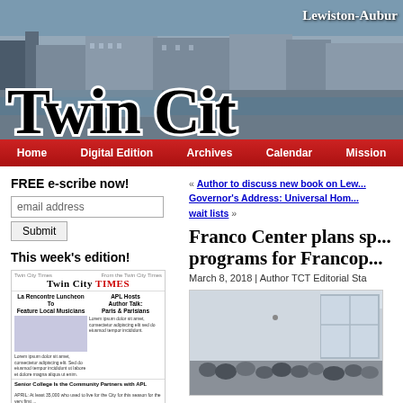[Figure (photo): Twin City Times newspaper website header with photo of Lewiston-Auburn cityscape and waterfall, with 'Twin Cit' masthead text visible]
Lewiston-Auburn
Twin Cit
Home  Digital Edition  Archives  Calendar  Mission
FREE e-scribe now!
email address
Submit
This week's edition!
[Figure (screenshot): Thumbnail of Twin City Times newspaper front page featuring 'La Rencontre Luncheon To Feature Local Musicians' headline and photo of three people]
Senior College Is the Community Partners with APL
« Author to discuss new book on Lew...
Governor's Address: Universal Hom... wait lists »
Franco Center plans sp... programs for Francop...
March 8, 2018 | Author TCT Editorial Sta
[Figure (photo): Interior photo showing people/children seated in a room with windows]